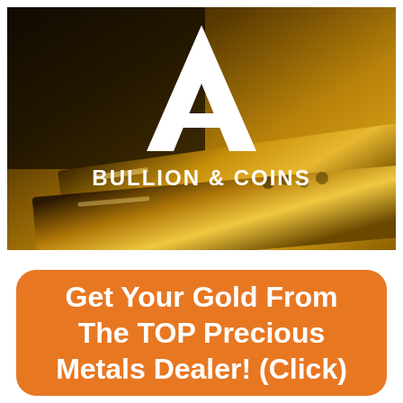[Figure (logo): A Bullion & Coins logo over a dark background showing gold bars. Large white letter 'A' in triangle form above white text 'BULLION & COINS'.]
Get Your Gold From The TOP Precious Metals Dealer! (Click)